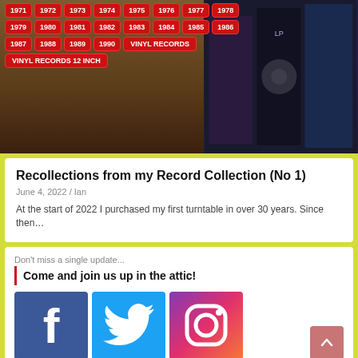[Figure (photo): Photo of vinyl record shelf with red year/category tag labels overlaid: 1971-1990, VINYL RECORDS, VINYL RECORDS 12 INCH]
Recollections from my Record Collection (No 1)
June 4, 2022 / Ian
At the start of 2022 I purchased my first turntable in over 30 years. Since then…
Don't miss a single update...
Come and join us up in the attic!
[Figure (logo): Facebook logo icon (white f on dark blue background)]
[Figure (logo): Twitter logo icon (white bird on light blue background)]
[Figure (logo): Instagram logo icon (white camera outline on gradient purple-pink-orange background)]